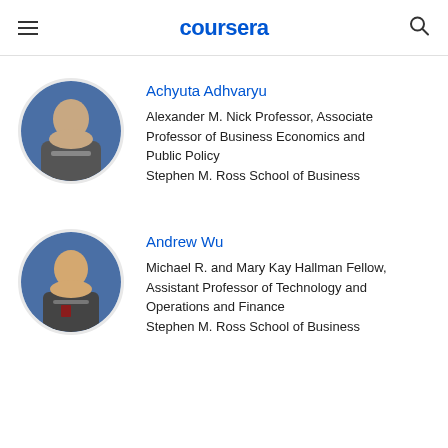coursera
Achyuta Adhvaryu
Alexander M. Nick Professor, Associate Professor of Business Economics and Public Policy
Stephen M. Ross School of Business
Andrew Wu
Michael R. and Mary Kay Hallman Fellow, Assistant Professor of Technology and Operations and Finance
Stephen M. Ross School of Business